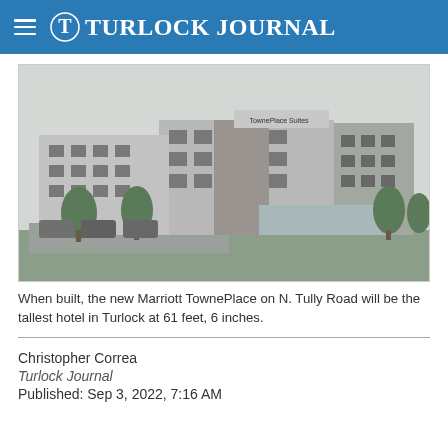Turlock Journal
[Figure (illustration): Architectural rendering of the Marriott TownePlace Suites hotel on N. Tully Road, Turlock — a multi-story building with stone and glass facade, parking lot in front, trees around the perimeter. Black and white rendering.]
When built, the new Marriott TownePlace on N. Tully Road will be the tallest hotel in Turlock at 61 feet, 6 inches.
Christopher Correa
Turlock Journal
Published: Sep 3, 2022, 7:16 AM